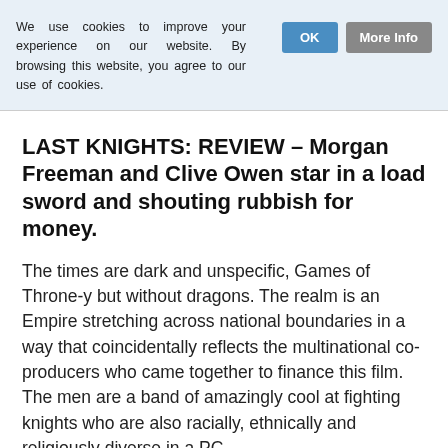We use cookies to improve your experience on our website. By browsing this website, you agree to our use of cookies.
LAST KNIGHTS: REVIEW – Morgan Freeman and Clive Owen star in a load sword and shouting rubbish for money.
The times are dark and unspecific, Games of Throne-y but without dragons. The realm is an Empire stretching across national boundaries in a way that coincidentally reflects the multinational co-producers who came together to finance this film. The men are a band of amazingly cool at fighting knights who are also racially, ethnically and religiously diverse in a PC